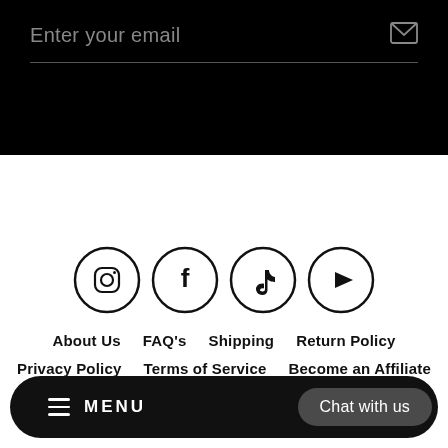Enter your email
[Figure (infographic): Social media icons in circles: Instagram, Facebook, TikTok, YouTube]
About Us
FAQ's
Shipping
Return Policy
Privacy Policy
Terms of Service
Become an Affiliate
Powered by Shopify
MENU  Chat with us